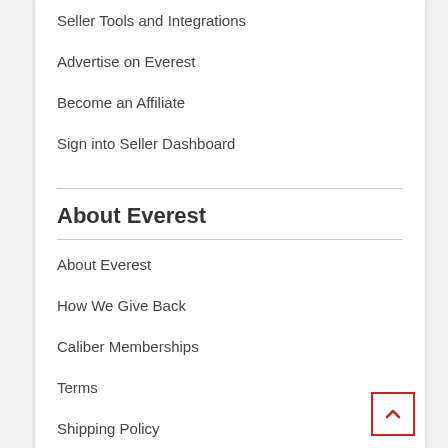Seller Tools and Integrations
Advertise on Everest
Become an Affiliate
Sign into Seller Dashboard
About Everest
About Everest
How We Give Back
Caliber Memberships
Terms
Shipping Policy
Media Inquiries
Contact